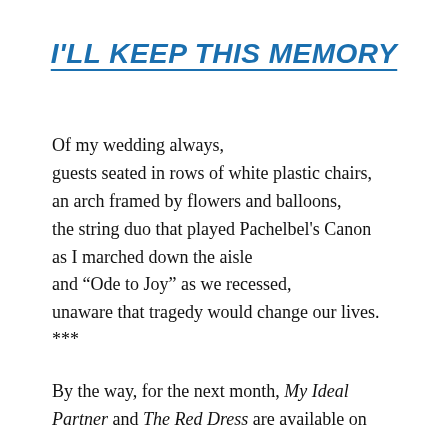I'LL KEEP THIS MEMORY
Of my wedding always,
guests seated in rows of white plastic chairs,
an arch framed by flowers and balloons,
the string duo that played Pachelbel's Canon
as I marched down the aisle
and “Ode to Joy” as we recessed,
unaware that tragedy would change our lives.
***
By the way, for the next month, My Ideal Partner and The Red Dress are available on